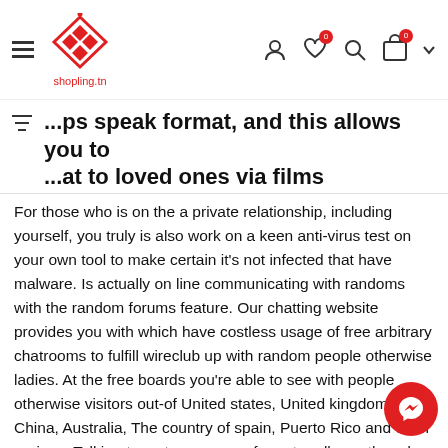shopling.tn — navigation header with hamburger, logo, user, wishlist, search, cart icons
...ps speak format, and this allows you to ...at to loved ones via films
For those who is on the a private relationship, including yourself, you truly is also work on a keen anti-virus test on your own tool to make certain it's not infected that have malware. Is actually on line communicating with randoms with the random forums feature. Our chatting website provides you with which have costless usage of free arbitrary chatrooms to fulfill wireclub up with random people otherwise ladies. At the free boards you're able to see with people otherwise visitors out-of United states, United kingdom, China, Australia, The country of spain, Puerto Rico and other regions. Talking-to a stranger are of great really worth and a good way to circulate your time with perhaps not demanding that log in otherwise sign up.